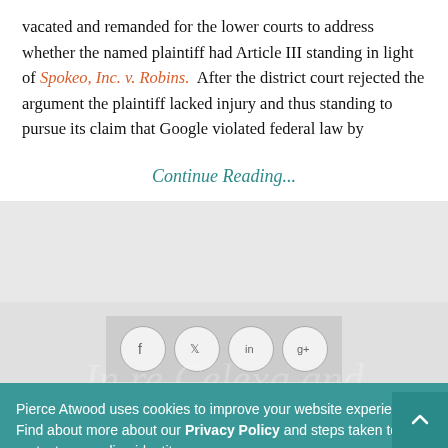vacated and remanded for the lower courts to address whether the named plaintiff had Article III standing in light of Spokeo, Inc. v. Robins. After the district court rejected the argument the plaintiff lacked injury and thus standing to pursue its claim that Google violated federal law by
Continue Reading...
[Figure (other): Social sharing icons: Facebook, Twitter, LinkedIn, Google+]
Pierce Atwood uses cookies to improve your website experience. Find about more about our Privacy Policy and steps taken to protect your online identity.
OK
In re Celexa and Lexapro – The